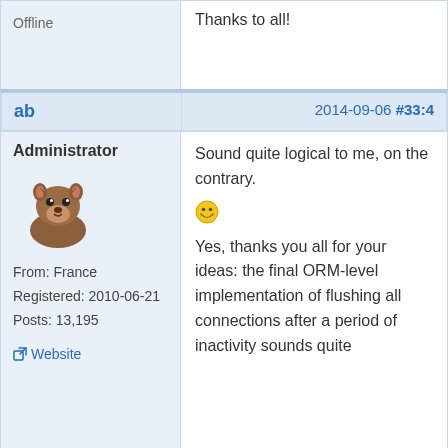Thanks to all!
Offline
ab
2014-09-06 #33:4
Administrator
[Figure (illustration): Pixel art avatar of a groundhog/beaver animal, brown colored, facing slightly right]
From: France
Registered: 2010-06-21
Posts: 13,195
Website
Sound quite logical to me, on the contrary.
[Figure (illustration): Laughing/grinning emoji smiley face]
Yes, thanks you all for your ideas: the final ORM-level implementation of flushing all connections after a period of inactivity sounds quite